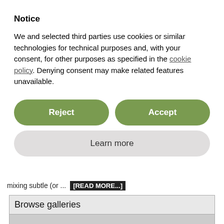Notice
We and selected third parties use cookies or similar technologies for technical purposes and, with your consent, for other purposes as specified in the cookie policy. Denying consent may make related features unavailable.
Reject
Accept
Learn more
mixing subtle (or ... [READ MORE...]
Browse galleries